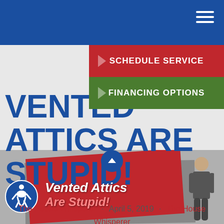Navigation bar with hamburger menu
SCHEDULE SERVICE
FINANCING OPTIONS
VENTED ATTICS ARE STUPID!
The House Whisperer · April 5, 2019 · The House Whisperer
[Figure (photo): Book/brochure image with text 'Vented Attics Are Stupid!' on red cover with person in background]